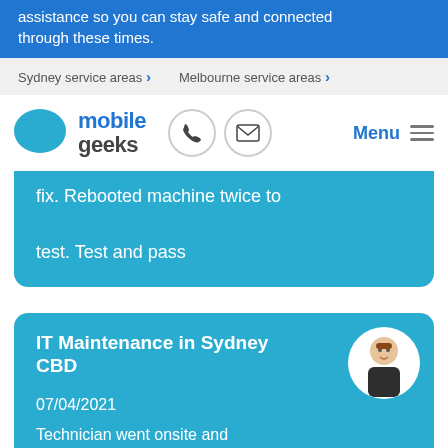assistance so you can stay safe and connected through these times.
Sydney service areas > Melbourne service areas >
[Figure (logo): Mobile Geeks logo with blue speech bubble icon, phone icon circle, and envelope icon circle, plus Menu hamburger]
fix. Rebooted machine twice to test. Test and pass
IT Maintenance in Sydney CBD
07/04/2021
Technician went onsite and